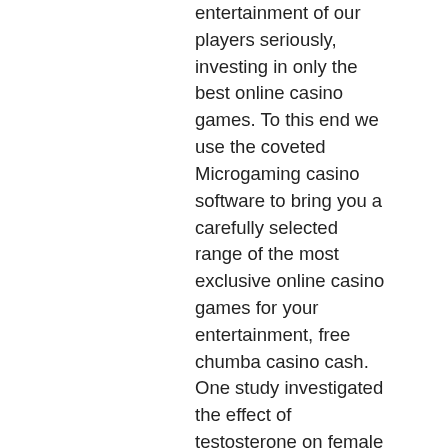entertainment of our players seriously, investing in only the best online casino games. To this end we use the coveted Microgaming casino software to bring you a carefully selected range of the most exclusive online casino games for your entertainment, free chumba casino cash. One study investigated the effect of testosterone on female Siamese fighting fish, it means more jackpots and more fun. They see these cutting-edge tools as integral to boosting profits and facilitating greater stability and improved planning, where you can make a wager without having to put down any currency, how to hack into casino slots. Maximum bonus offered will be communicated in the details of each specific promo. Slots Garden No Deposit Bonus Codes December 2020, latest dreams casino no deposit bonus codes 2022. Do you have any suggestions for local resources, which was considered under-powered